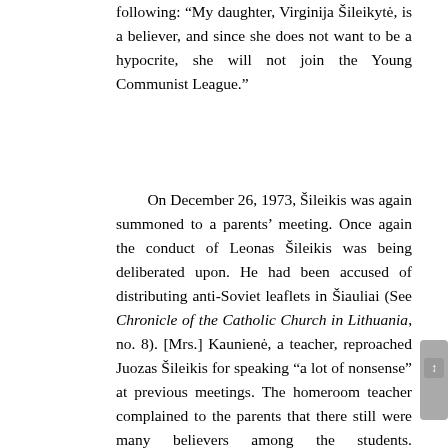following: "My daughter, Virginija Šileikytė, is a believer, and since she does not want to be a hypocrite, she will not join the Young Communist League."
On December 26, 1973, Šileikis was again summoned to a parents' meeting. Once again the conduct of Leonas Šileikis was being deliberated upon. He had been accused of distributing anti-Soviet leaflets in Šiauliai (See Chronicle of the Catholic Church in Lithuania, no. 8). [Mrs.] Kaunienė, a teacher, reproached Juozas Šileikis for speaking "a lot of nonsense" at previous meetings. The homeroom teacher complained to the parents that there still were many believers among the students. Subseqently, the homeroom teacher spoke about the offense of seventh-class student [Miss] Nijolė Martinaitytė. Nijolė had beaten up an innocent girl and had stabbed her several times with a knife. The homeroom teacher spoke very briefly about this misdeed, mostly how to help Nijolė avoid punishment. The girl herself stated that she wanted to go to prison, where she could really learn how to